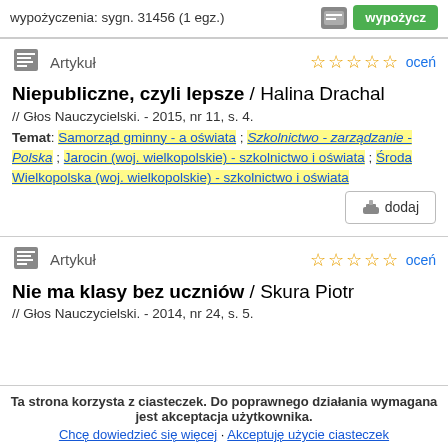wypożyczenia: sygn. 31456 (1 egz.)
Artykuł
Niepubliczne, czyli lepsze / Halina Drachal
// Głos Nauczycielski. - 2015, nr 11, s. 4.
Temat: Samorząd gminny - a oświata ; Szkolnictwo - zarządzanie - Polska ; Jarocin (woj. wielkopolskie) - szkolnictwo i oświata ; Środa Wielkopolska (woj. wielkopolskie) - szkolnictwo i oświata
Artykuł
Nie ma klasy bez uczniów / Skura Piotr
// Głos Nauczycielski. - 2014, nr 24, s. 5.
Ta strona korzysta z ciasteczek. Do poprawnego działania wymagana jest akceptacja użytkownika.
Chcę dowiedzieć się więcej · Akceptuję użycie ciasteczek